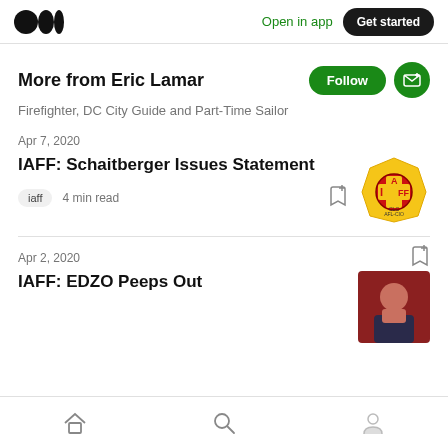Open in app | Get started
More from Eric Lamar
Firefighter, DC City Guide and Part-Time Sailor
Apr 7, 2020
IAFF: Schaitberger Issues Statement
iaff  4 min read
[Figure (logo): IAFF (International Association of Fire Fighters) yellow and red badge/shield logo]
Apr 2, 2020
IAFF: EDZO Peeps Out
[Figure (photo): Thumbnail photo of a man in a dark jacket, reddish background]
Home | Search | Profile